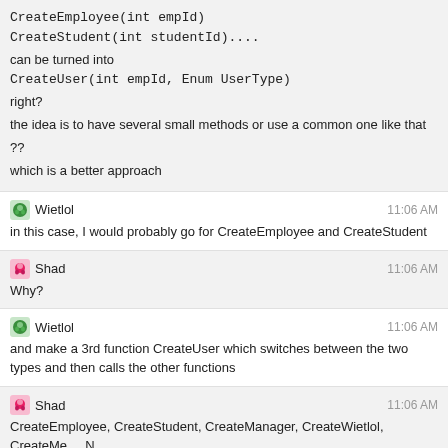CreateEmployee(int empId)
CreateStudent(int studentId)....
can be turned into
CreateUser(int empId,  Enum UserType)
right?
the idea is to have several small methods or use a common one like that
??
which is a better approach
Wietlol 11:06 AM
in this case, I would probably go for CreateEmployee and CreateStudent
Shad 11:06 AM
Why?
Wietlol 11:06 AM
and make a 3rd function CreateUser which switches between the two types and then calls the other functions
Shad 11:06 AM
CreateEmployee, CreateStudent, CreateManager, CreateWietlol, CreateMe.....N
Wietlol 11:06 AM
:D
Shad 11:07 AM
remember,